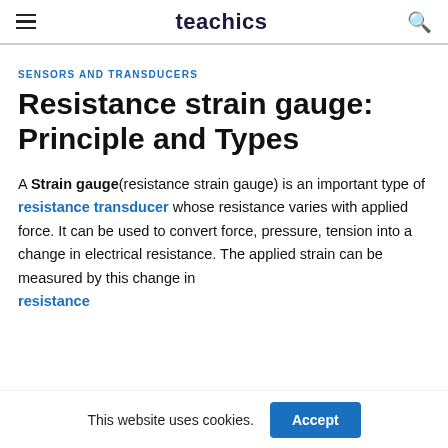teachics
SENSORS AND TRANSDUCERS
Resistance strain gauge: Principle and Types
A Strain gauge(resistance strain gauge) is an important type of resistance transducer whose resistance varies with applied force. It can be used to convert force, pressure, tension into a change in electrical resistance. The applied strain can be measured by this change in resistance
This website uses cookies.